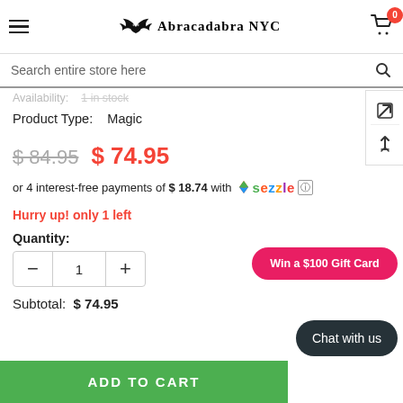Abracadabra NYC – navigation header with hamburger menu and cart (0 items)
Search entire store here
SKU: 210000002906
Availability: 1 in stock
Product Type: Magic
$84.95  $74.95
or 4 interest-free payments of $18.74 with Sezzle
Hurry up! only 1 left
Quantity:
1
Subtotal: $74.95
Win a $100 Gift Card
Chat with us
ADD TO CART